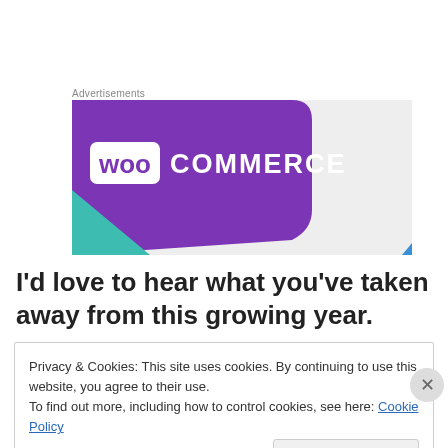Advertisements
[Figure (logo): WooCommerce advertisement banner with purple background, white WooCommerce logo, teal triangle accent, and light grey right area]
I'd love to hear what you've taken away from this growing year.
Privacy & Cookies: This site uses cookies. By continuing to use this website, you agree to their use.
To find out more, including how to control cookies, see here: Cookie Policy